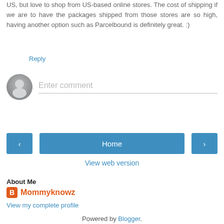US, but love to shop from US-based online stores. The cost of shipping if we are to have the packages shipped from those stores are so high, having another option such as Parcelbound is definitely great. :)
Reply
[Figure (other): Comment input area with a grey user avatar icon and a text field placeholder reading 'Enter comment' with a bottom border line]
[Figure (other): Navigation buttons: left arrow button, Home button, right arrow button]
View web version
About Me
Mommyknowz
View my complete profile
Powered by Blogger.